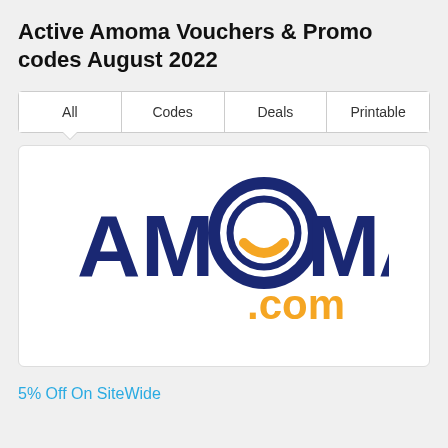Active Amoma Vouchers & Promo codes August 2022
| All | Codes | Deals | Printable |
| --- | --- | --- | --- |
[Figure (logo): Amoma.com logo — 'AMOMA' in large dark navy bold letters with a circular clock/globe icon replacing the second O, and '.com' in orange text below-right]
5% Off On SiteWide